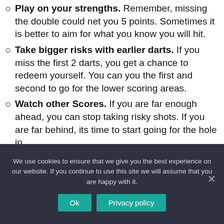Play on your strengths. Remember, missing the double could net you 5 points. Sometimes it is better to aim for what you know you will hit.
Take bigger risks with earlier darts. If you miss the first 2 darts, you get a chance to redeem yourself. You can you the first and second to go for the lower scoring areas.
Watch other Scores. If you are far enough ahead, you can stop taking risky shots. If you are far behind, its time to start going for the hole in
We use cookies to ensure that we give you the best experience on our website. If you continue to use this site we will assume that you are happy with it.